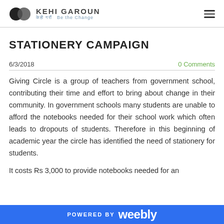KEHI GAROUN — केही गरौं  Be the Change
STATIONERY CAMPAIGN
6/3/2018    0 Comments
Giving Circle is a group of teachers from government school, contributing their time and effort to bring about change in their community. In government schools many students are unable to afford the notebooks needed for their school work which often leads to dropouts of students. Therefore in this beginning of academic year the circle has identified the need of stationery for students.
It costs Rs 3,000 to provide notebooks needed for an
POWERED BY weebly